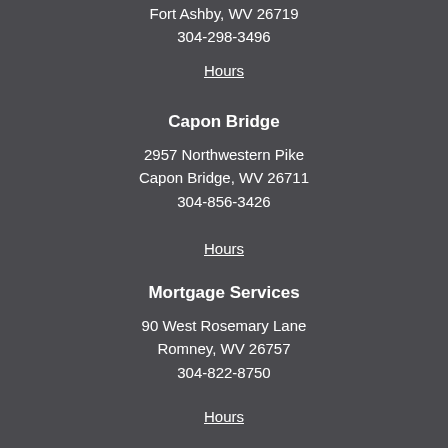Fort Ashby, WV 26719
304-298-3496
Hours
Capon Bridge
2957 Northwestern Pike
Capon Bridge, WV 26711
304-856-3426
Hours
Mortgage Services
90 West Rosemary Lane
Romney, WV 26757
304-822-8750
Hours
Sponsored ATM's
L&M Market
Augusta, WV